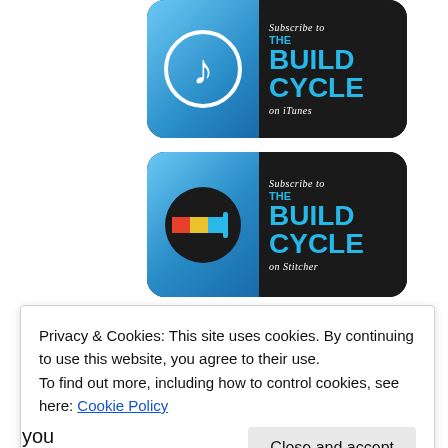[Figure (logo): Subscribe to The Build Cycle on iTunes badge - dark background with iTunes music note icon on blue gradient left side and cyan bold text on right]
[Figure (logo): Subscribe to The Build Cycle on Stitcher badge - dark background with Stitcher colorful icon on blue gradient left side and cyan bold text on right]
[Figure (logo): Listen on Google Play Music badge - dark background with Google Play triangle/circle icon and white text]
Privacy & Cookies: This site uses cookies. By continuing to use this website, you agree to their use.
To find out more, including how to control cookies, see here: Cookie Policy
Close and accept
you